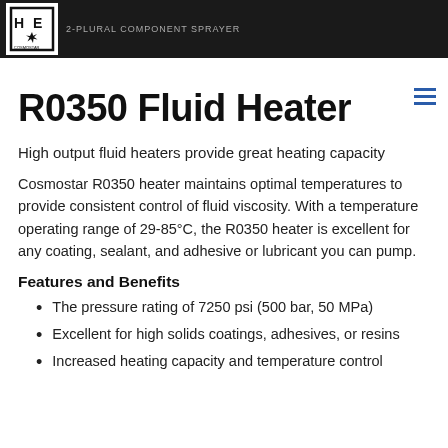2-PLURAL COMPONENT SPRAYER
R0350 Fluid Heater
High output fluid heaters provide great heating capacity
Cosmostar R0350 heater maintains optimal temperatures to provide consistent control of fluid viscosity. With a temperature operating range of 29-85°C, the R0350 heater is excellent for any coating, sealant, and adhesive or lubricant you can pump.
Features and Benefits
The pressure rating of 7250 psi (500 bar, 50 MPa)
Excellent for high solids coatings, adhesives, or resins
Increased heating capacity and temperature control